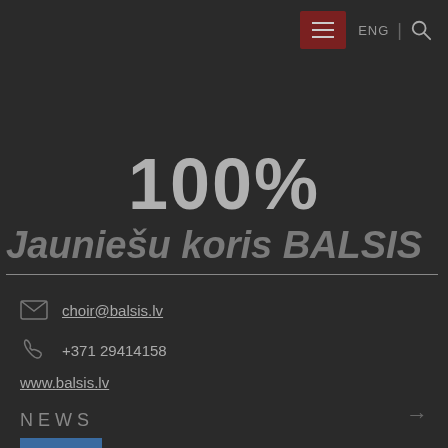[Figure (screenshot): Navigation bar with hamburger menu button (dark red background), ENG text, separator, and search icon on dark background]
100%
Jauniešu koris BALSIS
choir@balsis.lv
+371 29414158
www.balsis.lv
NEWS